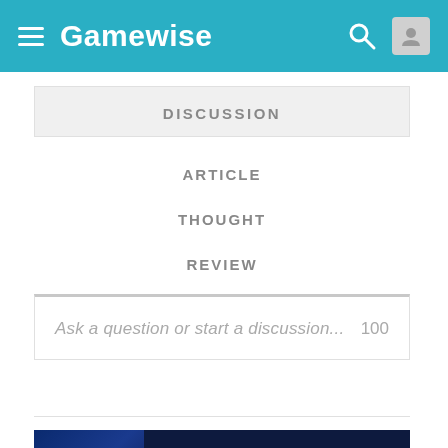Gamewise
DISCUSSION
ARTICLE
THOUGHT
REVIEW
Ask a question or start a discussion... 100
[Figure (screenshot): Mighty No. 9: Signature Edition game banner at bottom of page]